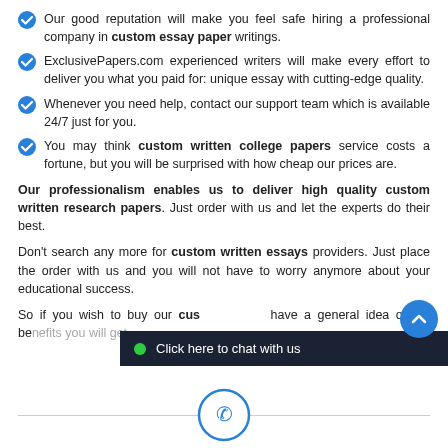Our good reputation will make you feel safe hiring a professional company in custom essay paper writings.
ExclusivePapers.com experienced writers will make every effort to deliver you what you paid for: unique essay with cutting-edge quality.
Whenever you need help, contact our support team which is available 24/7 just for you.
You may think custom written college papers service costs a fortune, but you will be surprised with how cheap our prices are.
Our professionalism enables us to deliver high quality custom written research papers. Just order with us and let the experts do their best.
Don’t search any more for custom written essays providers. Just place the order with us and you will not have to worry anymore about your educational success.
So if you wish to buy our cus... have a general idea of the benefits you will get.
[Figure (other): Phone icon circle at page bottom center]